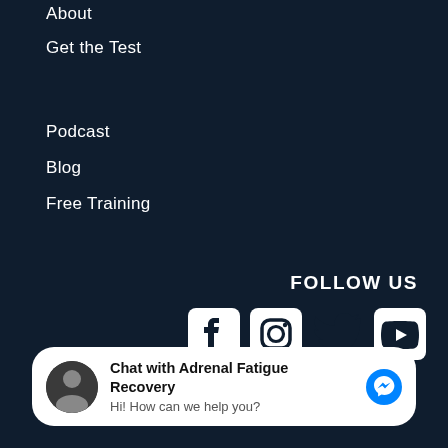About
Get the Test
Podcast
Blog
Free Training
FOLLOW US
[Figure (infographic): Social media icons: Facebook, Instagram, Twitter, YouTube]
Chat with Adrenal Fatigue Recovery
Hi! How can we help you?